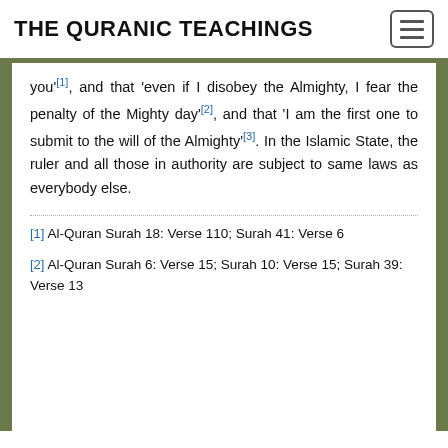THE QURANIC TEACHINGS
you'[1], and that 'even if I disobey the Almighty, I fear the penalty of the Mighty day'[2], and that 'I am the first one to submit to the will of the Almighty'[3]. In the Islamic State, the ruler and all those in authority are subject to same laws as everybody else.
[1] Al-Quran Surah 18: Verse 110; Surah 41: Verse 6
[2] Al-Quran Surah 6: Verse 15; Surah 10: Verse 15; Surah 39: Verse 13